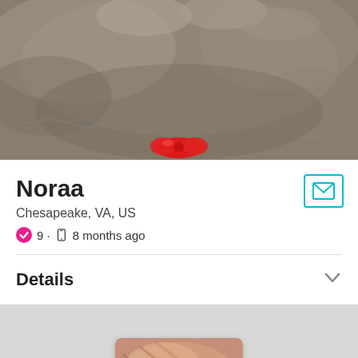[Figure (photo): Close-up photo of a fluffy gray/brown cat with a red bow, lying on a gray surface]
Noraa
Chesapeake, VA, US
9 · 8 months ago
Details
[Figure (photo): Thumbnail photo partially visible at bottom, showing a person with reddish-brown hair]